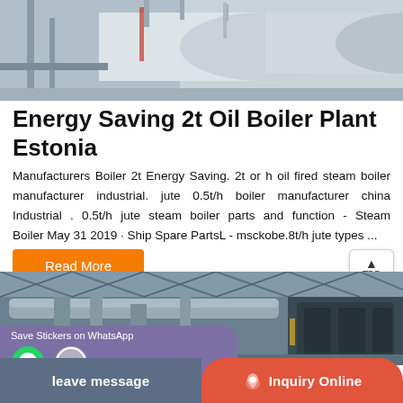[Figure (photo): Industrial boiler equipment in a large indoor facility, showing large cylindrical white/grey boiler tanks and machinery]
Energy Saving 2t Oil Boiler Plant Estonia
Manufacturers Boiler 2t Energy Saving. 2t or h oil fired steam boiler manufacturer industrial. jute 0.5t/h boiler manufacturer china Industrial . 0.5t/h jute steam boiler parts and function - Steam Boiler May 31 2019 · Ship Spare PartsL - msckobe.8t/h jute types ...
Read More
[Figure (photo): Industrial boiler facility interior showing pipes, ductwork and industrial equipment under a large roof structure]
Save Stickers on WhatsApp
leave message   Inquiry Online